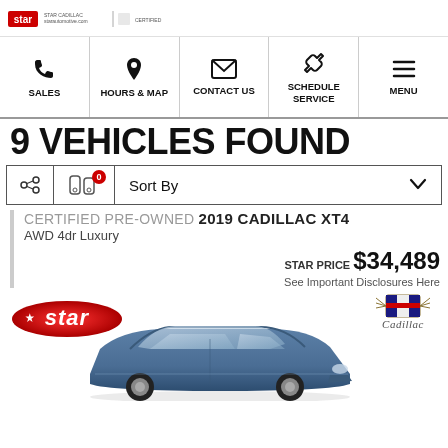[Figure (logo): Star dealership logo and partner logos in header bar]
[Figure (infographic): Navigation bar with icons: SALES (phone), HOURS & MAP (pin), CONTACT US (envelope), SCHEDULE SERVICE (wrench), MENU (hamburger)]
9 VEHICLES FOUND
Sort By (with share icon and filter icon with badge 0, and chevron dropdown)
CERTIFIED PRE-OWNED 2019 CADILLAC XT4
AWD 4dr Luxury
STAR PRICE $34,489
See Important Disclosures Here
[Figure (logo): Star dealership red logo on left, Cadillac wreath and script logo on right]
[Figure (photo): Blue/grey 2019 Cadillac XT4 SUV vehicle front 3/4 view at bottom of listing card]